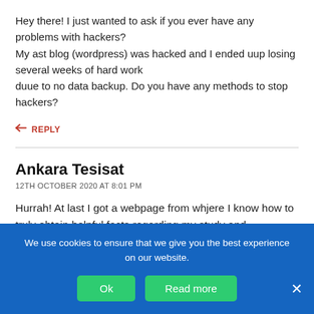Hey there! I just wanted to ask if you ever have any problems with hackers? My ast blog (wordpress) was hacked and I ended uup losing several weeks of hard work duue to no data backup. Do you have any methods to stop hackers?
↩ REPLY
Ankara Tesisat
12TH OCTOBER 2020 AT 8:01 PM
Hurrah! At last I got a webpage from whjere I know how to truly obtain helpful facts regarding my study and knowledge.
We use cookies to ensure that we give you the best experience on our website.